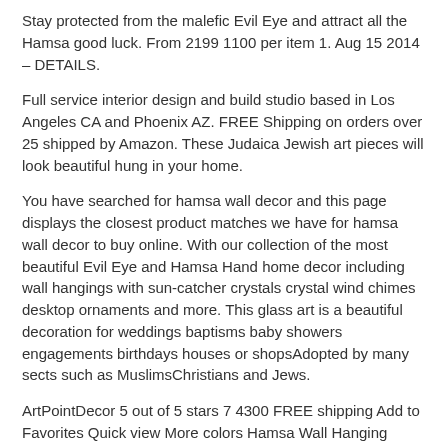Stay protected from the malefic Evil Eye and attract all the Hamsa good luck. From 2199 1100 per item 1. Aug 15 2014 – DETAILS.
Full service interior design and build studio based in Los Angeles CA and Phoenix AZ. FREE Shipping on orders over 25 shipped by Amazon. These Judaica Jewish art pieces will look beautiful hung in your home.
You have searched for hamsa wall decor and this page displays the closest product matches we have for hamsa wall decor to buy online. With our collection of the most beautiful Evil Eye and Hamsa Hand home decor including wall hangings with sun-catcher crystals crystal wind chimes desktop ornaments and more. This glass art is a beautiful decoration for weddings baptisms baby showers engagements birthdays houses or shopsAdopted by many sects such as MuslimsChristians and Jews.
ArtPointDecor 5 out of 5 stars 7 4300 FREE shipping Add to Favorites Quick view More colors Hamsa Wall Hanging SignedByParis 5 out of 5 stars 76 3000 FREE shipping Add to Favorites. Change SYMBOL color option available Notify us color number from. 8 8500 FREE shipping.